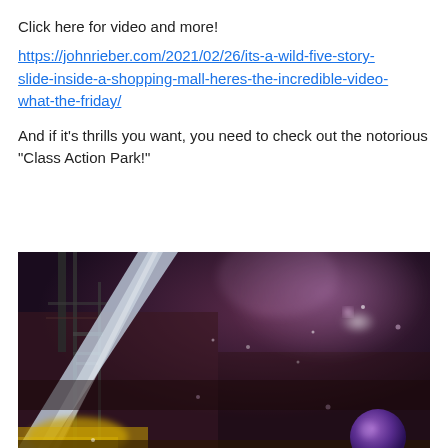Click here for video and more!
https://johnrieber.com/2021/02/26/its-a-wild-five-story-slide-inside-a-shopping-mall-heres-the-incredible-video-what-the-friday/
And if it’s thrills you want, you need to check out the notorious “Class Action Park!”
[Figure (photo): Blurry low-resolution photograph of what appears to be an amusement park ride or slide, with colorful lights, a bright diagonal beam of light, and dark atmospheric background with pink and purple hues.]